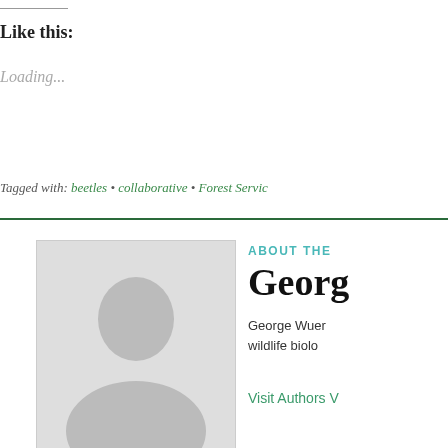Like this:
Loading...
Tagged with: beetles • collaborative • Forest Service
ABOUT THE
Georg
George Wuer wildlife biolo
Visit Authors V
If you enjoyed this article, please
19 Responses to foras